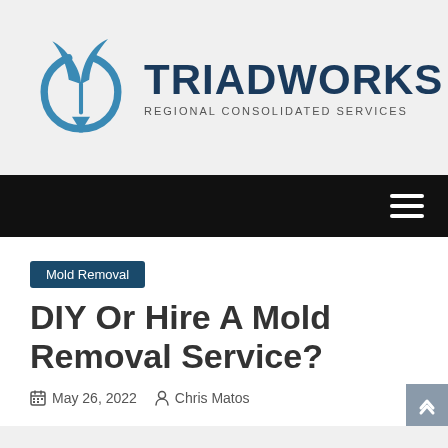[Figure (logo): Triadworks logo: a blue stylized arrow/leaf and circular arrow icon with text TRIADWORKS and tagline REGIONAL CONSOLIDATED SERVICES]
TRIADWORKS REGIONAL CONSOLIDATED SERVICES
Mold Removal
DIY Or Hire A Mold Removal Service?
May 26, 2022   Chris Matos